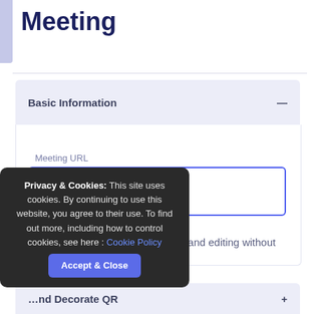Meeting
Basic Information
Meeting URL
https://www.yoursite.com
Make dynamic (for analytics and editing without re-printing)
Privacy & Cookies: This site uses cookies. By continuing to use this website, you agree to their use. To find out more, including how to control cookies, see here : Cookie Policy
Accept & Close
…nd Decorate QR